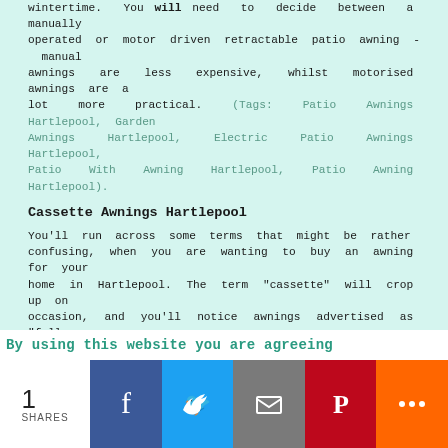wintertime. You will need to decide between a manually operated or motor driven retractable patio awning - manual awnings are less expensive, whilst motorised awnings are a lot more practical. (Tags: Patio Awnings Hartlepool, Garden Awnings Hartlepool, Electric Patio Awnings Hartlepool, Patio With Awning Hartlepool, Patio Awning Hartlepool).
Cassette Awnings Hartlepool
You'll run across some terms that might be rather confusing, when you are wanting to buy an awning for your home in Hartlepool. The term "cassette" will crop up on occasion, and you'll notice awnings advertised as "full-cassette" and "half-cassette". So, what is a cassette, and what exactly is the difference between a half-cassette and a full-cassette? A cassette gives protection from the weather, dust and dirt, and is basically a housing into which an awning folds away.
Half Cassette Awnings - A half-cassette awning will encase the canvas part of the awning and offer a certain degree of protection. With the cassette casing sitting on the top of the fabric roll, the awning is protected from above, but generally left open underneath.
By using this website you are agreeing
1 SHARES